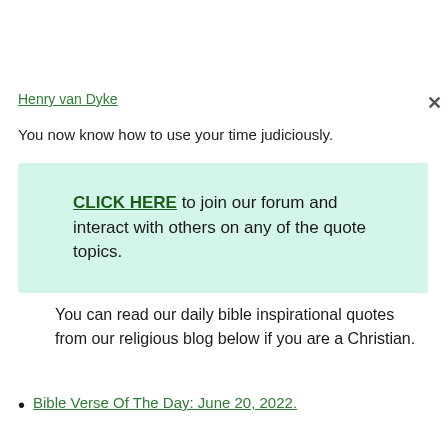Henry van Dyke
You now know how to use your time judiciously.
CLICK HERE to join our forum and interact with others on any of the quote topics.
You can read our daily bible inspirational quotes from our religious blog below if you are a Christian.
Bible Verse Of The Day: June 20, 2022.